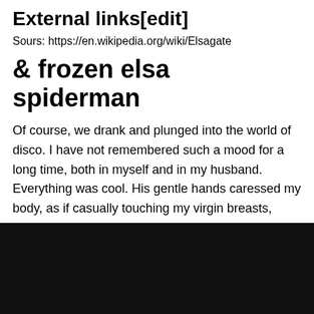External links[edit]
Sours: https://en.wikipedia.org/wiki/Elsagate
& frozen elsa spiderman
Of course, we drank and plunged into the world of disco. I have not remembered such a mood for a long time, both in myself and in my husband. Everything was cool. His gentle hands caressed my body, as if casually touching my virgin breasts, jumping out of my light dress, then ass, then accidentally waddling.
In the crowd penetrated my already wet hole.
Frozen Elsa ❤ Spiderman 🍰 little cute inside cake ☹☺
[Figure (photo): Black/dark image partially visible at bottom of page]